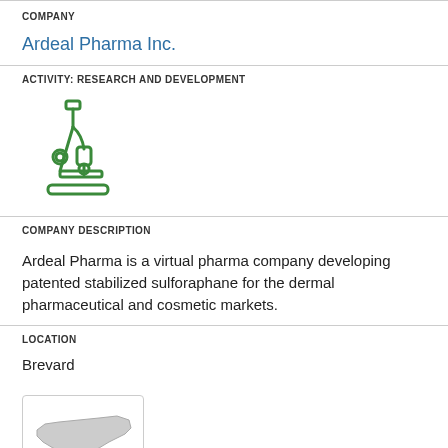COMPANY
Ardeal Pharma Inc.
ACTIVITY: RESEARCH AND DEVELOPMENT
[Figure (illustration): Green line-art icon of a microscope]
COMPANY DESCRIPTION
Ardeal Pharma is a virtual pharma company developing patented stabilized sulforaphane for the dermal pharmaceutical and cosmetic markets.
LOCATION
Brevard
[Figure (map): Outline map of North Carolina state in light gray within a bordered box]